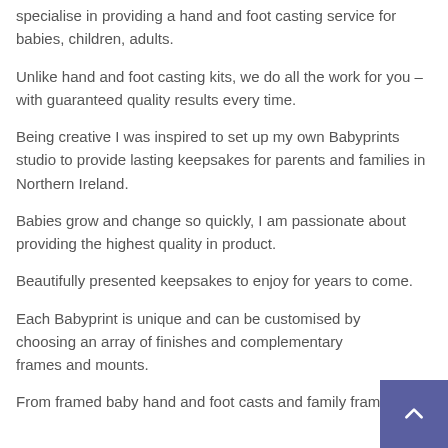specialise in providing a hand and foot casting service for babies, children, adults.
Unlike hand and foot casting kits, we do all the work for you – with guaranteed quality results every time.
Being creative I was inspired to set up my own Babyprints studio to provide lasting keepsakes for parents and families in Northern Ireland.
Babies grow and change so quickly, I am passionate about providing the highest quality in product.
Beautifully presented keepsakes to enjoy for years to come.
Each Babyprint is unique and can be customised by choosing an array of finishes and complementary frames and mounts.
From framed baby hand and foot casts and family frames